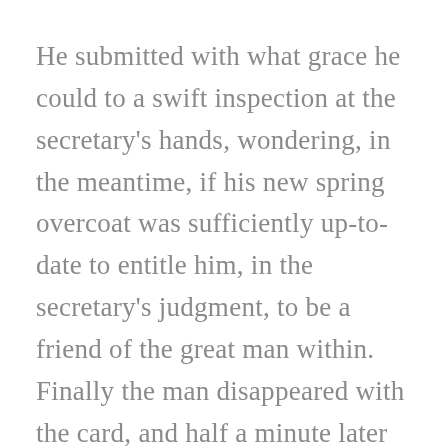He submitted with what grace he could to a swift inspection at the secretary's hands, wondering, in the meantime, if his new spring overcoat was sufficiently up-to-date to entitle him, in the secretary's judgment, to be a friend of the great man within. Finally the man disappeared with the card, and half a minute later came back, smiling effusively. He ushered Montague into a huge office with leather-cushioned chairs large enough to hold several people each, and too large for any one person to be comfortable in. There was a map of the